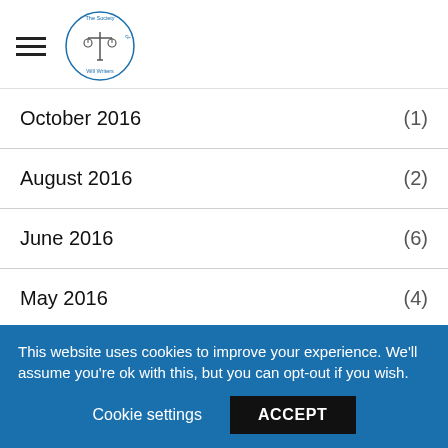The Society of Will Writers logo and navigation
October 2016 (1)
August 2016 (2)
June 2016 (6)
May 2016 (4)
April 2016 (9)
March 2016 (2)
February 2016 (partially visible)
This website uses cookies to improve your experience. We'll assume you're ok with this, but you can opt-out if you wish. Cookie settings ACCEPT